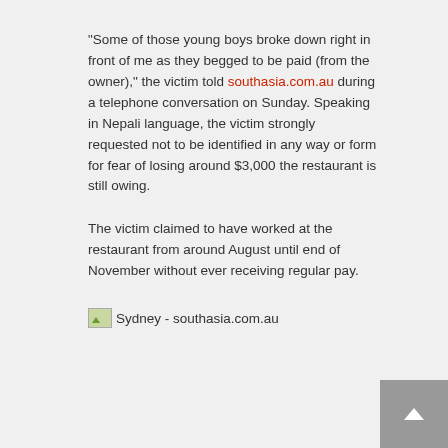“Some of those young boys broke down right in front of me as they begged to be paid (from the owner),” the victim told southasia.com.au during a telephone conversation on Sunday. Speaking in Nepali language, the victim strongly requested not to be identified in any way or form for fear of losing around $3,000 the restaurant is still owing.
The victim claimed to have worked at the restaurant from around August until end of November without ever receiving regular pay.
[Figure (photo): Image placeholder with alt text: Sydney - southasia.com.au]